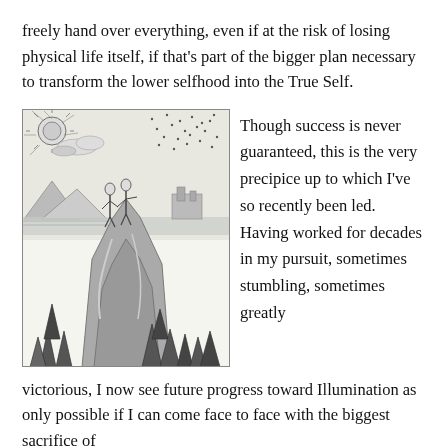freely hand over everything, even if at the risk of losing physical life itself, if that's part of the bigger plan necessary to transform the lower selfhood into the True Self.
[Figure (illustration): Black and white engraving showing two figures (one robed, one armored) standing atop a rocky peak, with a radiant sun in the upper left, stars scattered across the sky, mountains and a town in the background, and trees below.]
Though success is never guaranteed, this is the very precipice up to which I've so recently been led. Having worked for decades in my pursuit, sometimes stumbling, sometimes greatly victorious, I now see future progress toward Illumination as only possible if I can come face to face with the biggest sacrifice of
victorious, I now see future progress toward Illumination as only possible if I can come face to face with the biggest sacrifice of